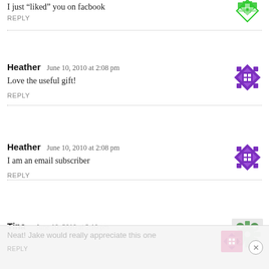I just “liked” you on facbook
REPLY
Heather   June 10, 2010 at 2:08 pm
Love the useful gift!
REPLY
Heather   June 10, 2010 at 2:08 pm
I am an email subscriber
REPLY
Tina   June 10, 2010 at 2:10 pm
a wonderful giveaway!
REPLY
Laurie   June 10, 2010 at 2:10 pm
Neat! Jake would really appreciate this one
REPLY